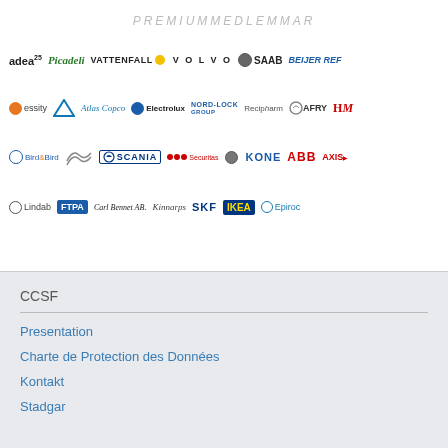PREMIUMMEDLEMMAR
[Figure (logo): Grid of company logos: adea25, Picadeli, VATTENFALL, VOLVO, SAAB, BEIJER REF, essity, Ericsson, Atlas Copco, Electrolux, NORD-LOCK GROUP, Recipharm, AFRY, H&M, Bird & Bird, Alfa, SCANIA, Securitas, Volvo, KONE, ABB, AXIS, Lindab, FTPA, Carl Bennet AB, Kinnarps, SKF, IKEA, Epiroc]
CCSF
Presentation
Charte de Protection des Données
Kontakt
Stadgar